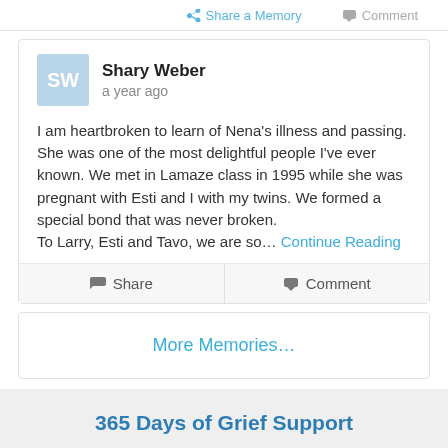Share a Memory  Comment
Shary Weber
a year ago
I am heartbroken to learn of Nena's illness and passing. She was one of the most delightful people I've ever known. We met in Lamaze class in 1995 while she was pregnant with Esti and I with my twins. We formed a special bond that was never broken.
To Larry, Esti and Tavo, we are so... Continue Reading
Share  Comment
More Memories...
365 Days of Grief Support
Email Address  Subscribe